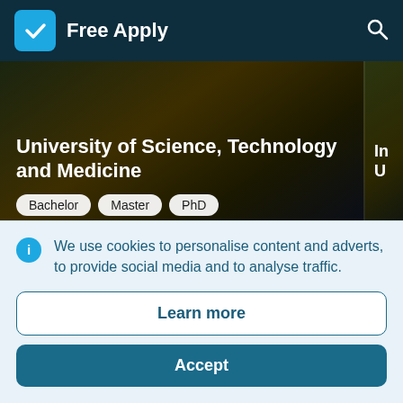Free Apply
[Figure (screenshot): University of Science, Technology and Medicine card with Bachelor, Master, PhD badges on dark background. Partially visible second card on the right with 'In U' text.]
Admissions open
The main mission of the University of Science, Technology and Medicine (USTM)
Ad
Th
We use cookies to personalise content and adverts, to provide social media and to analyse traffic.
Learn more
Accept